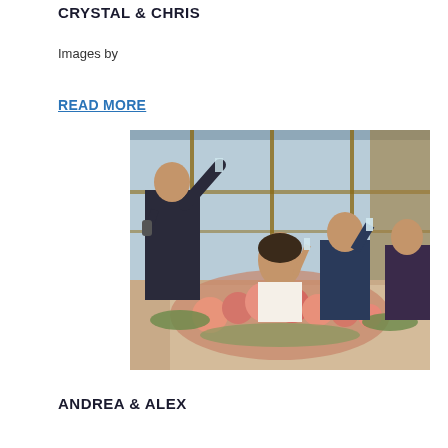CRYSTAL & CHRIS
Images by
READ MORE
[Figure (photo): Wedding reception toast scene: man in dark suit holding microphone raises glass, bride and groom seated at sweetheart table raising glasses, large floral arrangement with pink and coral flowers in foreground, floor-to-ceiling windows in background]
ANDREA & ALEX